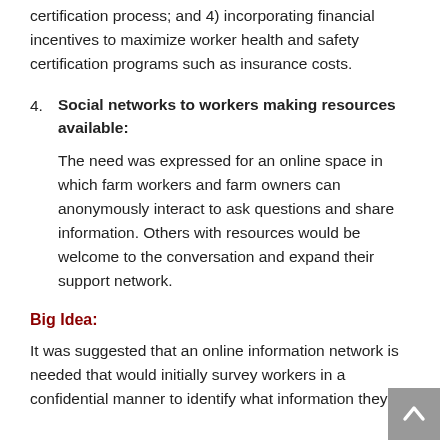certification process; and 4) incorporating financial incentives to maximize worker health and safety certification programs such as insurance costs.
Social networks to workers making resources available: The need was expressed for an online space in which farm workers and farm owners can anonymously interact to ask questions and share information. Others with resources would be welcome to the conversation and expand their support network.
Big Idea:
It was suggested that an online information network is needed that would initially survey workers in a confidential manner to identify what information they